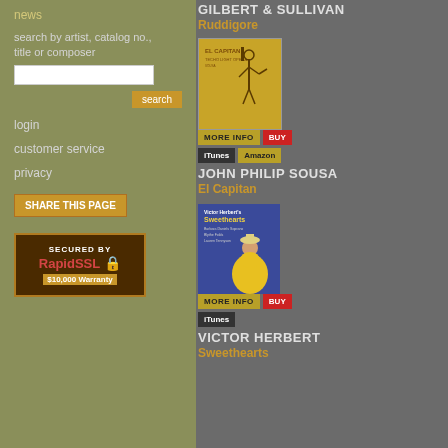news
search by artist, catalog no., title or composer
login
customer service
privacy
SHARE THIS PAGE
[Figure (logo): SECURED BY RapidSSL $10,000 Warranty badge]
GILBERT & SULLIVAN
Ruddigore
[Figure (photo): El Capitan album cover - illustration of knight/soldier figure on golden background]
MORE INFO BUY
iTunes Amazon
JOHN PHILIP SOUSA
El Capitan
[Figure (photo): Sweethearts album cover - woman in yellow dress on blue/purple background]
MORE INFO BUY
iTunes
VICTOR HERBERT
Sweethearts